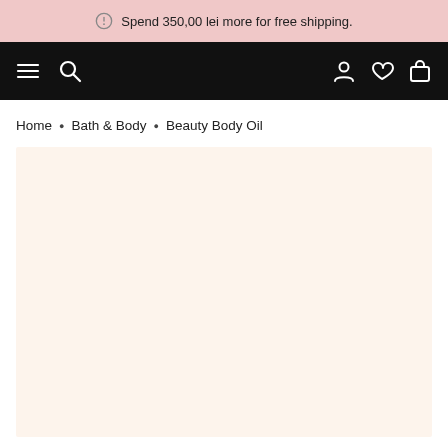Spend 350,00 lei more for free shipping.
[Figure (screenshot): Black navigation bar with hamburger menu, search icon on the left, and account, wishlist, cart icons on the right]
Home • Bath & Body • Beauty Body Oil
[Figure (photo): Large cream/ivory colored product image area with warm off-white background]